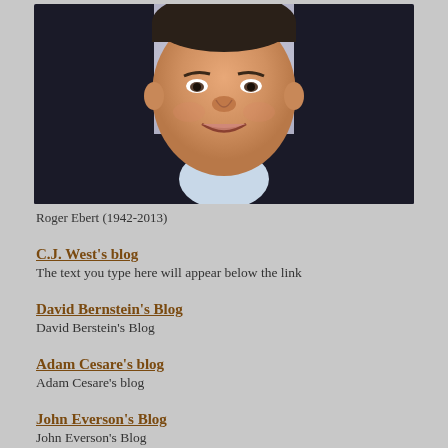[Figure (photo): Portrait photo of Roger Ebert, a man in a dark blazer with white/light blue shirt, smiling, against a light purple/grey background]
Roger Ebert (1942-2013)
C.J. West's blog
The text you type here will appear below the link
David Bernstein's Blog
David Berstein's Blog
Adam Cesare's blog
Adam Cesare's blog
John Everson's Blog
John Everson's Blog
Brian Moreland's Blog
Brian Moreland's Blog